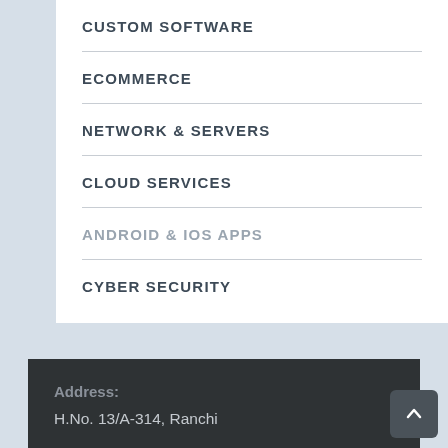CUSTOM SOFTWARE
ECOMMERCE
NETWORK & SERVERS
CLOUD SERVICES
ANDROID & IOS APPS
CYBER SECURITY
Address:
H.No. 13/A-314, Ranchi